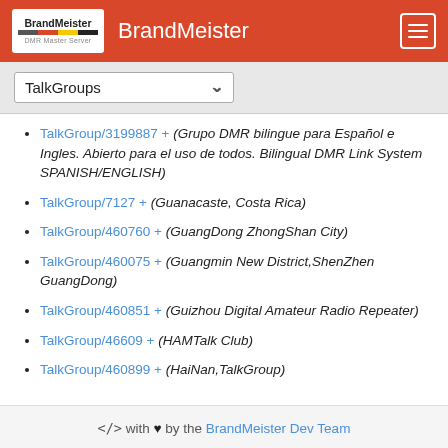BrandMeister
TalkGroups
TalkGroup/3199887 + (Grupo DMR bilingue para Español e Ingles. Abierto para el uso de todos. Bilingual DMR Link System SPANISH/ENGLISH)
TalkGroup/7127 + (Guanacaste, Costa Rica)
TalkGroup/460760 + (GuangDong ZhongShan City)
TalkGroup/460075 + (Guangmin New District,ShenZhen GuangDong)
TalkGroup/460851 + (Guizhou Digital Amateur Radio Repeater)
TalkGroup/46609 + (HAMTalk Club)
TalkGroup/460899 + (HaiNan,TalkGroup)
</> with ♥ by the BrandMeister Dev Team